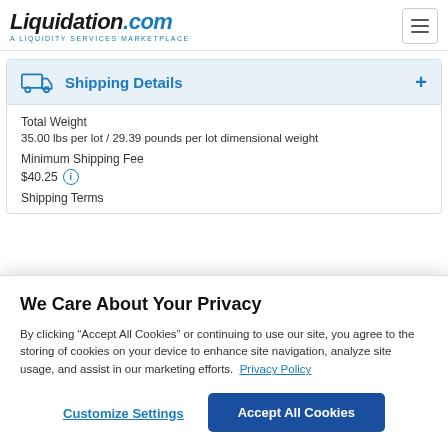[Figure (logo): Liquidation.com logo with tagline 'A LIQUIDITY SERVICES MARKETPLACE']
Shipping Details
Total Weight
35.00 lbs per lot / 29.39 pounds per lot dimensional weight
Minimum Shipping Fee
$40.25
Shipping Terms
We Care About Your Privacy
By clicking “Accept All Cookies” or continuing to use our site, you agree to the storing of cookies on your device to enhance site navigation, analyze site usage, and assist in our marketing efforts. Privacy Policy
Customize Settings
Accept All Cookies